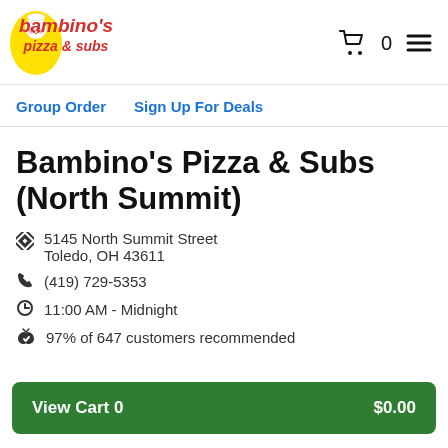[Figure (logo): Bambino's Pizza & Subs logo with cartoon chef character, red text on yellow background]
🛒 0  ☰
Group Order    Sign Up For Deals
Bambino's Pizza & Subs (North Summit)
5145 North Summit Street Toledo, OH 43611
(419) 729-5353
11:00 AM - Midnight
97% of 647 customers recommended
View Cart 0    $0.00